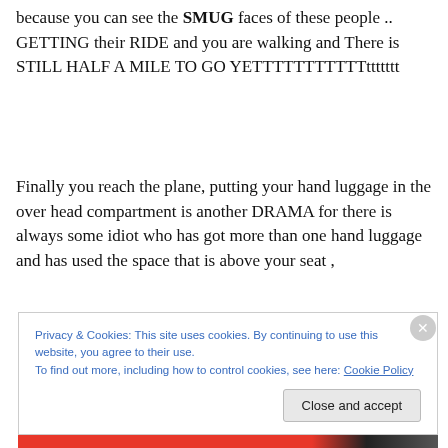because you can see the SMUG faces of these people .. GETTING their RIDE and you are walking and There is STILL HALF A MILE TO GO YETTTTTTTTTTTttttttt
Finally you reach the plane, putting your hand luggage in the over head compartment is another DRAMA for there is always some idiot who has got more than one hand luggage and has used the space that is above your seat ,
Privacy & Cookies: This site uses cookies. By continuing to use this website, you agree to their use.
To find out more, including how to control cookies, see here: Cookie Policy
Close and accept